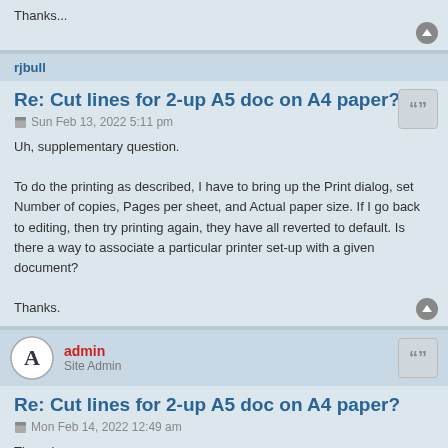Thanks...
rjbull
Re: Cut lines for 2-up A5 doc on A4 paper?
Sun Feb 13, 2022 5:11 pm
Uh, supplementary question.

To do the printing as described, I have to bring up the Print dialog, set Number of copies, Pages per sheet, and Actual paper size. If I go back to editing, then try printing again, they have all reverted to default. Is there a way to associate a particular printer set-up with a given document?

Thanks.
admin
Site Admin
Re: Cut lines for 2-up A5 doc on A4 paper?
Mon Feb 14, 2022 12:49 am
There is no way, sorry.